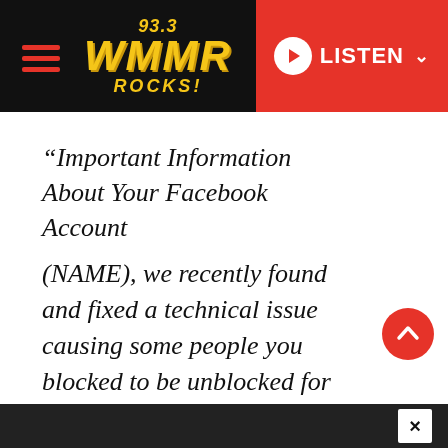[Figure (logo): 93.3 WMMR ROCKS! radio station logo with hamburger menu and Listen button navigation bar]
“Important Information About Your Facebook Account
(NAME), we recently found and fixed a technical issue causing some people you blocked to be unblocked for a period of time between May 29 and June 5, including (NAME OF BLOCKED USER). Re...